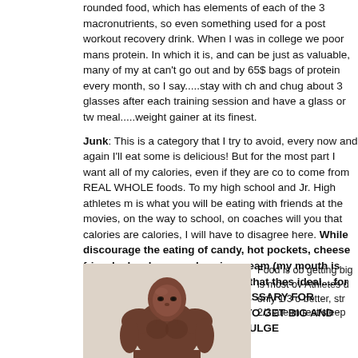rounded food, which has elements of each of the 3 macronutrients, so even something used for a post workout recovery drink. When I was in college we poor mans protein. In which it is, and can be just as valuable, many of my at can't go out and by 65$ bags of protein every month, so I say.....stay with ch and chug about 3 glasses after each training session and have a glass or tw meal.....weight gainer at its finest.
Junk: This is a category that I try to avoid, every now and again I'll eat some is delicious! But for the most part I want all of my calories, even if they are co to come from REAL WHOLE foods. To my high school and Jr. High athletes m is what you will be eating with friends at the movies, on the way to school, on coaches will you that calories are calories, I will have to disagree here. While discourage the eating of candy, hot pockets, cheese fries, lucky charms cakes, ice cream (my mouth is watering as I type this), I do feel that thes ideal....for anyone. BUT IF THEY ARE NECESSARY FOR GETTING WHA AND THEY ARE TO GET BIG AND STRONG.....BY ALL MEANS, INDULGE
[Figure (photo): Muscular bodybuilder man posing, shirtless, dark complexion, light background]
Food is ob getting big is most ov Athletes d only 1/3 o better, str 2/3 are m rest/sleep